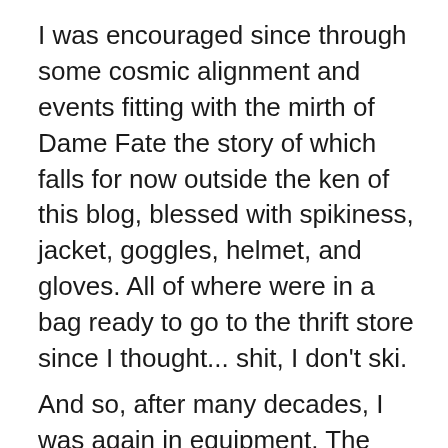I was encouraged since through some cosmic alignment and events fitting with the mirth of Dame Fate the story of which falls for now outside the ken of this blog, blessed with spikiness, jacket, goggles, helmet, and gloves. All of where were in a bag ready to go to the thrift store since I thought... shit, I don't ski.
And so, after many decades, I was again in equipment. The shape had changed. The technology had changed. It was as if I was left apart from society in the woods and just wandered into town and saw cars and track phones for the